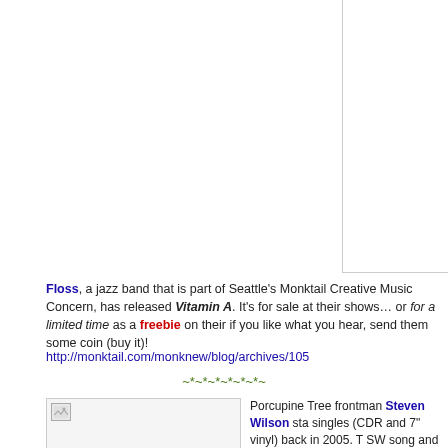[Figure (other): White rectangular image box in upper right, partially visible, with border on left and bottom]
Floss, a jazz band that is part of Seattle's Monktail Creative Music Concern, has released Vitamin A. It's for sale at their shows… or for a limited time as a freebie on their [site] if you like what you hear, send them some coin (buy it)!
http://monktail.com/monknew/blog/archives/105
~*~*~*~*~*~*~
[Figure (photo): Small image thumbnail with broken image icon in upper left]
Porcupine Tree frontman Steven Wilson sta singles (CDR and 7" vinyl) back in 2005. T SW song and one "mysterious" cover versio Morissette's "Thank You"). Coming the nex
Privacy & Cookies: This site uses cookies. By continuing to use this website, you agree to their use.
To find out more, including how to control cookies, see here: Cookie Policy
Close and accept